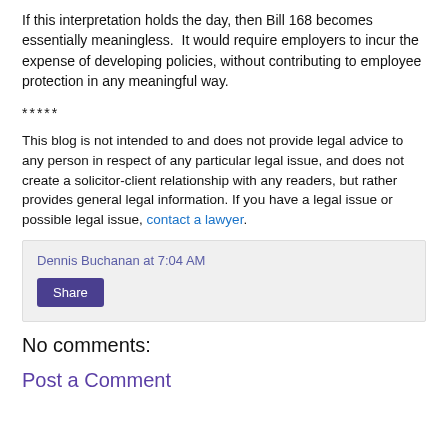If this interpretation holds the day, then Bill 168 becomes essentially meaningless.  It would require employers to incur the expense of developing policies, without contributing to employee protection in any meaningful way.
*****
This blog is not intended to and does not provide legal advice to any person in respect of any particular legal issue, and does not create a solicitor-client relationship with any readers, but rather provides general legal information. If you have a legal issue or possible legal issue, contact a lawyer.
Dennis Buchanan at 7:04 AM
Share
No comments:
Post a Comment